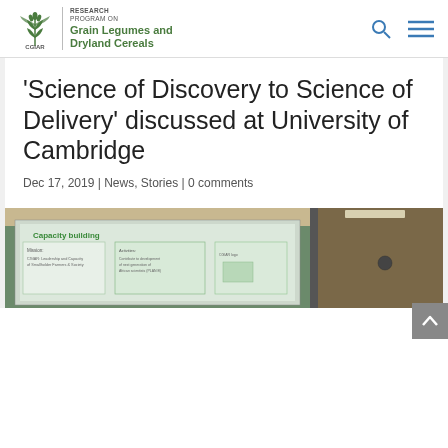[Figure (logo): CGIAR Research Program on Grain Legumes and Dryland Cereals logo with wheat/plant emblem in green]
‘Science of Discovery to Science of Delivery’ discussed at University of Cambridge
Dec 17, 2019 | News, Stories | 0 comments
[Figure (photo): Photo of a presentation screen showing a slide about 'Capacity building' with green diagrams, taken in a conference room]